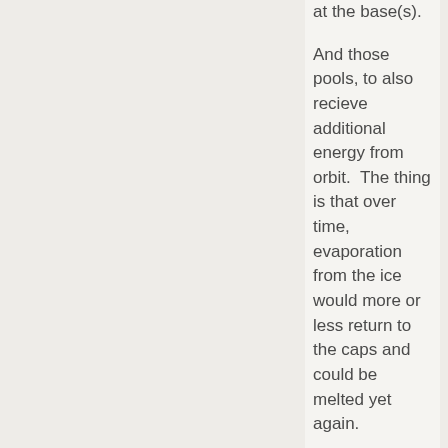at the base(s).
And those pools, to also recieve additional energy from orbit.  The thing is that over time, evaporation from the ice would more or less return to the caps and could be melted yet again.
So, seas to be formed. Ideally this would also